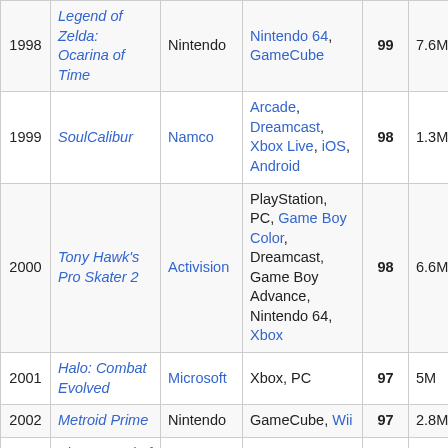| Year | Title | Publisher | Platform(s) | Score | Sales |
| --- | --- | --- | --- | --- | --- |
| 1998 | Legend of Zelda: Ocarina of Time | Nintendo | Nintendo 64, GameCube | 99 | 7.6M |
| 1999 | SoulCalibur | Namco | Arcade, Dreamcast, Xbox Live, iOS, Android | 98 | 1.3M |
| 2000 | Tony Hawk's Pro Skater 2 | Activision | PlayStation, PC, Game Boy Color, Dreamcast, Game Boy Advance, Nintendo 64, Xbox | 98 | 6.6M |
| 2001 | Halo: Combat Evolved | Microsoft | Xbox, PC | 97 | 5M |
| 2002 | Metroid Prime | Nintendo | GameCube, Wii | 97 | 2.8M |
| 2003 | The Legend of Zelda: The Wind Waker | Nintendo | GameCube, Wii U | 96 | 4.6M |